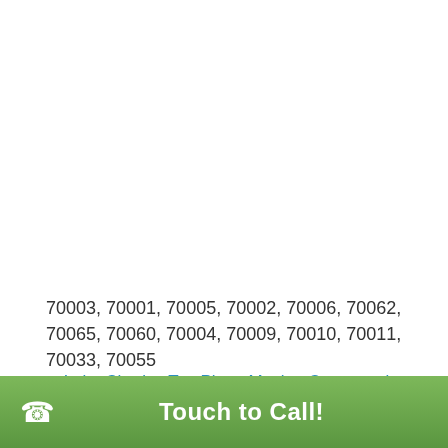70003, 70001, 70005, 70002, 70006, 70062, 70065, 70060, 70004, 70009, 70010, 70011, 70033, 70055
Piano Moving Service in baton rouge
Lake Charles Top Piano Moving Company in Louisiana
Lafayette Most Reliable Piano Moving in Louisiana
Touch to Call!